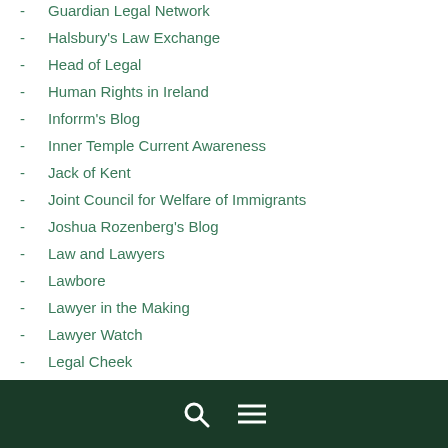Guardian Legal Network
Halsbury's Law Exchange
Head of Legal
Human Rights in Ireland
Inforrm's Blog
Inner Temple Current Awareness
Jack of Kent
Joint Council for Welfare of Immigrants
Joshua Rozenberg's Blog
Law and Lawyers
Lawbore
Lawyer in the Making
Lawyer Watch
Legal Cheek
Legal Week Legal Village
Meeja Law
search menu